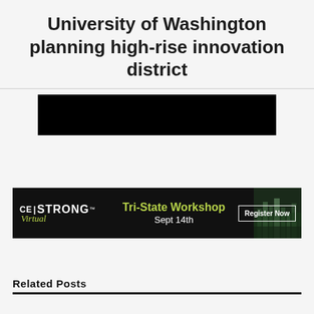University of Washington planning high-rise innovation district
[Figure (photo): Redacted/blacked-out image below title]
[Figure (infographic): CE|STRONG Virtual advertisement banner for Tri-State Workshop Sept 14th with Register Now button and cityscape background]
Related Posts